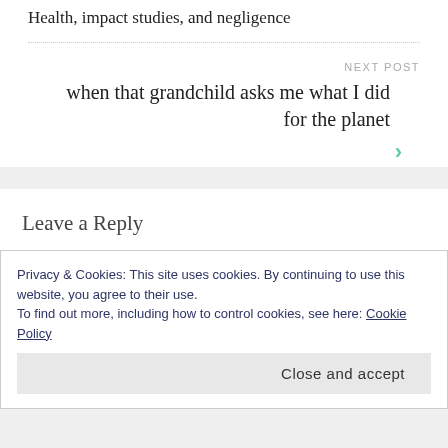Health, impact studies, and negligence
NEXT POST
when that grandchild asks me what I did for the planet
Leave a Reply
Your email address will not be published. Required fields are marked *
Privacy & Cookies: This site uses cookies. By continuing to use this website, you agree to their use.
To find out more, including how to control cookies, see here: Cookie Policy
Close and accept